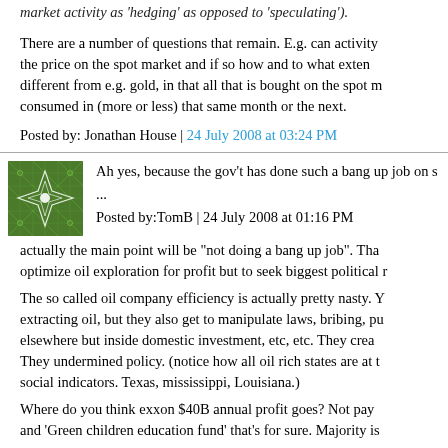market activity as 'hedging' as opposed to 'speculating').
There are a number of questions that remain. E.g. can activity the price on the spot market and if so how and to what extent different from e.g. gold, in that all that is bought on the spot m consumed in (more or less) that same month or the next.
Posted by: Jonathan House | 24 July 2008 at 03:24 PM
[Figure (illustration): Green geometric avatar icon with star/diamond pattern]
Ah yes, because the gov't has done such a bang up job on s ...
Posted by:TomB | 24 July 2008 at 01:16 PM
actually the main point will be "not doing a bang up job". Tha optimize oil exploration for profit but to seek biggest political r
The so called oil company efficiency is actually pretty nasty. Y extracting oil, but they also get to manipulate laws, bribing, pu elsewhere but inside domestic investment, etc, etc. They crea They undermined policy. (notice how all oil rich states are at t social indicators. Texas, mississippi, Louisiana.)
Where do you think exxon $40B annual profit goes? Not pay and 'Green children education fund' that's for sure. Majority is